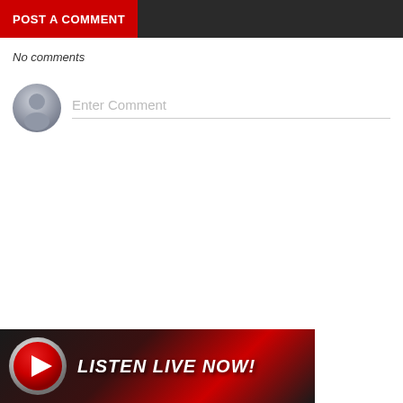POST A COMMENT
No comments
[Figure (screenshot): Comment input area with a grey avatar/user icon circle on the left and an 'Enter Comment' placeholder text input field with a bottom border on the right]
[Figure (infographic): Bottom banner with dark/red textured background, a metallic play button icon on the left, and bold italic white text 'LISTEN LIVE NOW!']